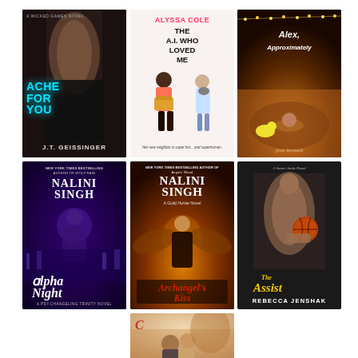[Figure (illustration): Grid of 7 romance novel book covers. Row 1: 'Ache For You' by J.T. Geissinger (dark cover with shirtless man, teal title text), 'The AI Who Loved Me' by Alyssa Cole (light illustrated cover with two characters), 'Alex, Approximately' by Jenn Bennett (warm amber/orange cover with string lights). Row 2: 'Alpha Night' by Nalini Singh (dark purple cover with figure), 'Archangel's Kiss' by Nalini Singh (orange/fiery fantasy cover), 'The Assist' by Rebecca Jenshak (dark cover with athletic man holding basketball). Row 3: one partial cover visible at bottom center with a couple kissing.]